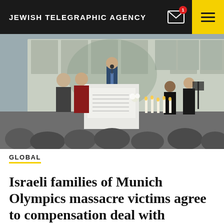JEWISH TELEGRAPHIC AGENCY
[Figure (photo): A memorial ceremony scene with a speaker at a podium, flanked by attendees. Behind them are portrait sketches of victims arranged on display boards. Candles and flowers are visible on stage. Musicians are seated to the right.]
GLOBAL
Israeli families of Munich Olympics massacre victims agree to compensation deal with Germany, avoiding 50th anniversary ceremony boycott